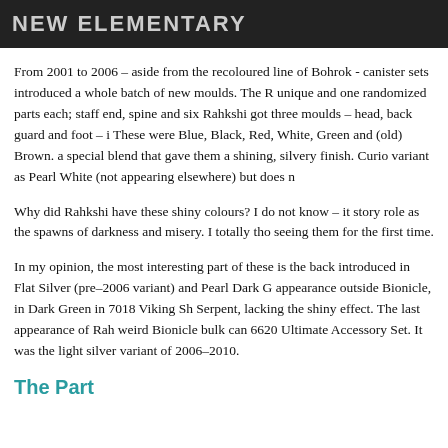NEW ELEMENTARY
From 2001 to 2006 - aside from the recoloured line of Bohrok - canister sets introduced a whole batch of new moulds. The Rahkshi had three unique and one randomized parts each; staff end, spine and kraata. Each of the six Rahkshi got three moulds - head, back guard and foot - in six colours. These were Blue, Black, Red, White, Green and (old) Brown. The plastic used a special blend that gave them a shining, silvery finish. Curiously, LEGO lists this variant as Pearl White (not appearing elsewhere) but does not...
Why did Rahkshi have these shiny colours? I do not know - it does not fit their story role as the spawns of darkness and misery. I totally thought they were cool seeing them for the first time.
In my opinion, the most interesting part of these is the back foot. It was introduced in Flat Silver (pre-2006 variant) and Pearl Dark Grey. It made an appearance outside Bionicle, in Dark Green in 7018 Viking Ship challenges the Midgard Serpent, lacking the shiny effect. The last appearance of Rahkshi back foot was in the weird Bionicle bulk can 6620 Ultimate Accessory Set. It was in Flat Silver again, the light silver variant of 2006-2010.
The Part